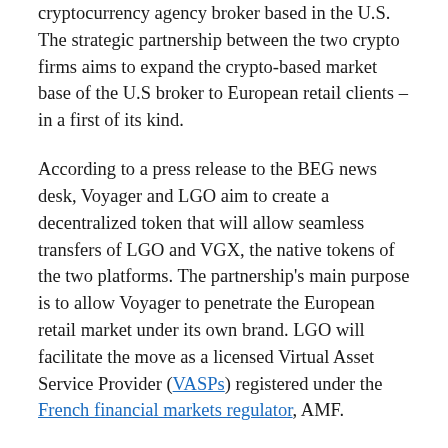cryptocurrency agency broker based in the U.S. The strategic partnership between the two crypto firms aims to expand the crypto-based market base of the U.S broker to European retail clients – in a first of its kind.
According to a press release to the BEG news desk, Voyager and LGO aim to create a decentralized token that will allow seamless transfers of LGO and VGX, the native tokens of the two platforms. The partnership's main purpose is to allow Voyager to penetrate the European retail market under its own brand. LGO will facilitate the move as a licensed Virtual Asset Service Provider (VASPs) registered under the French financial markets regulator, AMF.
As one of the largest cryptocurrency firms focusing on crypto institutional investors in Europe, LGO